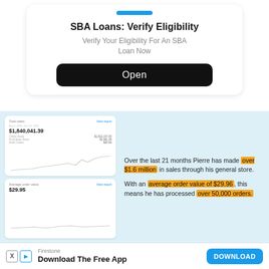SBA Loans: Verify Eligibility
Verify Your Eligibility For An SBA Loan Now
Open
[Figure (screenshot): Dashboard screenshot showing Total Sales $1,840,041.39 with a line chart over time]
[Figure (screenshot): Dashboard screenshot showing Average Order Value $29.95 with a line chart over time]
Over the last 21 months Pierre has made over $1.6 million in sales through his general store.
With an average order value of $29.96, this means he has processed over 50,000 orders.
Firestone
Download The Free App
DOWNLOAD